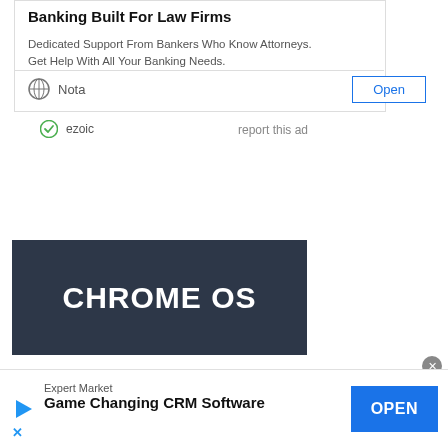Banking Built For Law Firms
Dedicated Support From Bankers Who Know Attorneys. Get Help With All Your Banking Needs.
Nota   Open
ezoic   report this ad
[Figure (screenshot): Dark banner with white bold text reading CHROME OS]
Expert Market Game Changing CRM Software   OPEN